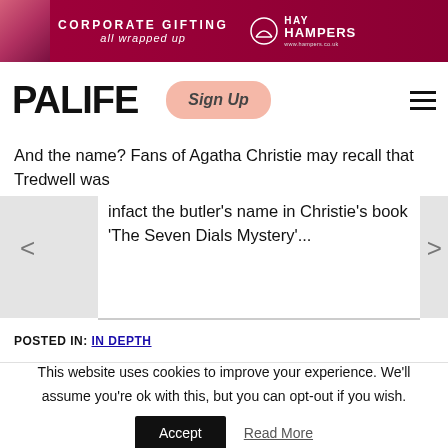[Figure (infographic): Hay Hampers corporate gifting advertisement banner with magenta/dark red background, text 'CORPORATE GIFTING all wrapped up' and Hay Hampers logo]
PALIFE
And the name? Fans of Agatha Christie may recall that Tredwell was infact the butler's name in Christie's book 'The Seven Dials Mystery'...
POSTED IN: IN DEPTH
This website uses cookies to improve your experience. We'll assume you're ok with this, but you can opt-out if you wish.